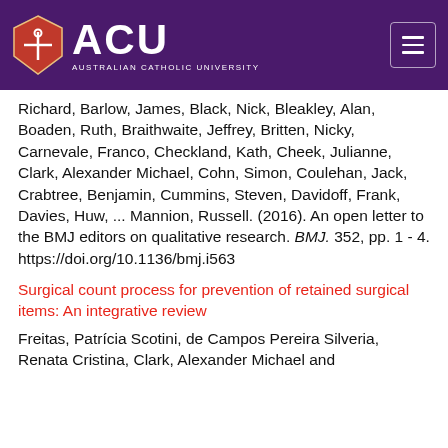[Figure (logo): Australian Catholic University (ACU) logo with shield icon and university name on purple background header]
Richard, Barlow, James, Black, Nick, Bleakley, Alan, Boaden, Ruth, Braithwaite, Jeffrey, Britten, Nicky, Carnevale, Franco, Checkland, Kath, Cheek, Julianne, Clark, Alexander Michael, Cohn, Simon, Coulehan, Jack, Crabtree, Benjamin, Cummins, Steven, Davidoff, Frank, Davies, Huw, ... Mannion, Russell. (2016). An open letter to the BMJ editors on qualitative research. BMJ. 352, pp. 1 - 4. https://doi.org/10.1136/bmj.i563
Surgical count process for prevention of retained surgical items: An integrative review
Freitas, Patrícia Scotini, de Campos Pereira Silveria, Renata Cristina, Clark, Alexander Michael and